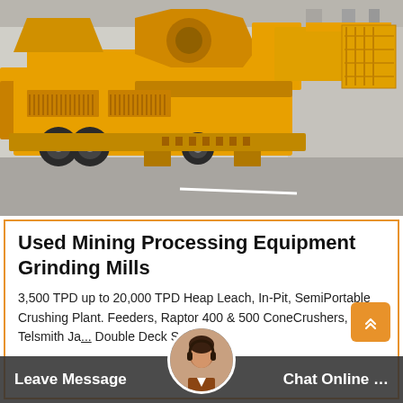[Figure (photo): Large yellow mobile mining/crushing machine on wheels parked inside an industrial warehouse with concrete floor and steel structure background]
Used Mining Processing Equipment Grinding Mills
3,500 TPD up to 20,000 TPD Heap Leach, In-Pit, SemiPortable Crushing Plant. Feeders, Raptor 400 & 500 ConeCrushers, Telsmith Ja... Double Deck Screens, ... & Overl... eyors. 42...
Leave Message
Chat Online